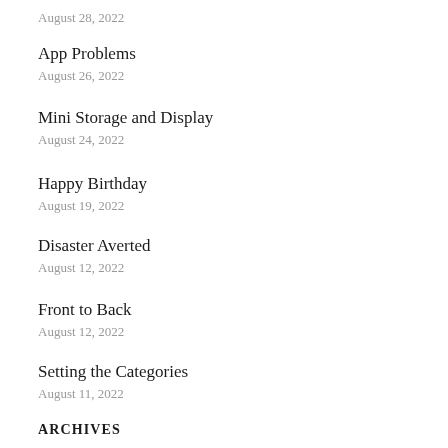August 28, 2022
App Problems
August 26, 2022
Mini Storage and Display
August 24, 2022
Happy Birthday
August 19, 2022
Disaster Averted
August 12, 2022
Front to Back
August 12, 2022
Setting the Categories
August 11, 2022
ARCHIVES